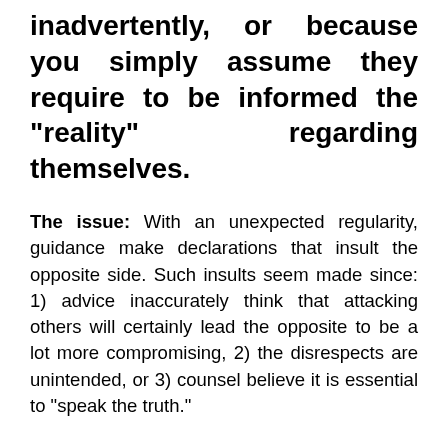inadvertently, or because you simply assume they require to be informed the "reality" regarding themselves.
The issue: With an unexpected regularity, guidance make declarations that insult the opposite side. Such insults seem made since: 1) advice inaccurately think that attacking others will certainly lead the opposite to be a lot more compromising, 2) the disrespects are unintended, or 3) counsel believe it is essential to "speak the truth."